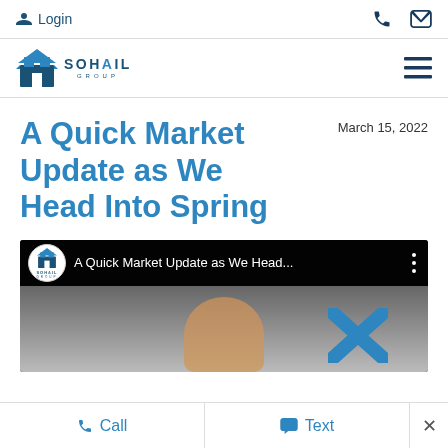Login
[Figure (logo): Sohail Group logo with building icon and hamburger menu icon]
A Quick Market Update as We Head Into Spring
March 15, 2022
[Figure (screenshot): YouTube video thumbnail showing Sohail Group logo and title 'A Quick Market Update as We Head...' with a person visible below]
Call   Text   ×